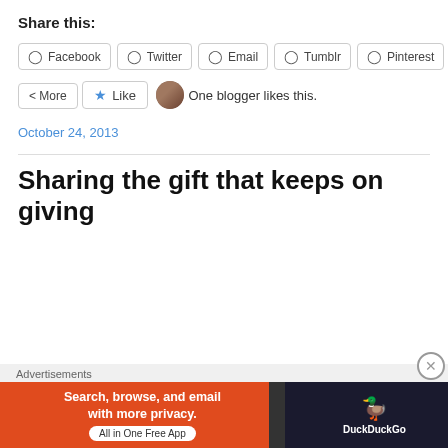Share this:
[Figure (screenshot): Row of social share buttons: Facebook, Twitter, Email, Tumblr, Pinterest]
[Figure (screenshot): More share button]
[Figure (screenshot): Like button with star icon and blogger avatar]
One blogger likes this.
October 24, 2013
Sharing the gift that keeps on giving
Advertisements
[Figure (screenshot): DuckDuckGo advertisement banner: Search, browse, and email with more privacy. All in One Free App]